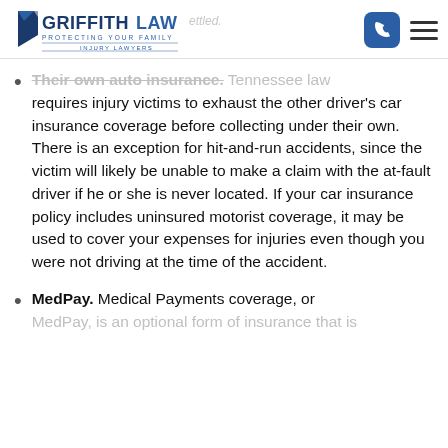Griffith Law — Protecting Your Family — Injury Lawyers
Their own auto insurance. Tennessee law requires injury victims to exhaust the other driver's car insurance coverage before collecting under their own. There is an exception for hit-and-run accidents, since the victim will likely be unable to make a claim with the at-fault driver if he or she is never located. If your car insurance policy includes uninsured motorist coverage, it may be used to cover your expenses for injuries even though you were not driving at the time of the accident.
MedPay. Medical Payments coverage, or MedPay, is an optional form of insurance that is